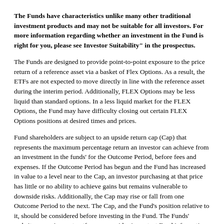The Funds have characteristics unlike many other traditional investment products and may not be suitable for all investors. For more information regarding whether an investment in the Fund is right for you, please see Investor Suitability" in the prospectus.
The Funds are designed to provide point-to-point exposure to the price return of a reference asset via a basket of Flex Options. As a result, the ETFs are not expected to move directly in line with the reference asset during the interim period. Additionally, FLEX Options may be less liquid than standard options. In a less liquid market for the FLEX Options, the Fund may have difficulty closing out certain FLEX Options positions at desired times and prices.
Fund shareholders are subject to an upside return cap (Cap) that represents the maximum percentage return an investor can achieve from an investment in the funds' for the Outcome Period, before fees and expenses. If the Outcome Period has begun and the Fund has increased in value to a level near to the Cap, an investor purchasing at that price has little or no ability to achieve gains but remains vulnerable to downside risks. Additionally, the Cap may rise or fall from one Outcome Period to the next. The Cap, and the Fund's position relative to it, should be considered before investing in the Fund. The Funds' website, www.innovatoretfs.com, provides important Fund information as well information relating to the potential outcomes of an investment in a Fund on a daily basis.
Buffer ETFs: The Funds only seek to provide shareholders that hold shares for the entire Outcome Period with their respective buffer level against references to the during the Outcome Period. You will have all of a